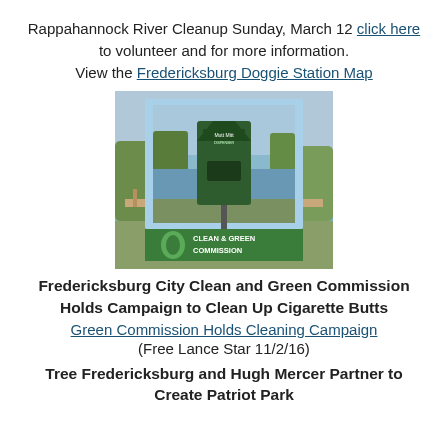Rappahannock River Cleanup Sunday, March 12 click here to volunteer and for more information. View the Fredericksburg Doggie Station Map
[Figure (photo): A green metal mutt mitt doggie station dispenser mounted on a post near a river, with a bridge visible in the background. A green Clean & Green Commission banner appears at the bottom of the image.]
Fredericksburg City Clean and Green Commission Holds Campaign to Clean Up Cigarette Butts
Green Commission Holds Cleaning Campaign
(Free Lance Star 11/2/16)
Tree Fredericksburg and Hugh Mercer Partner to Create Patriot Park